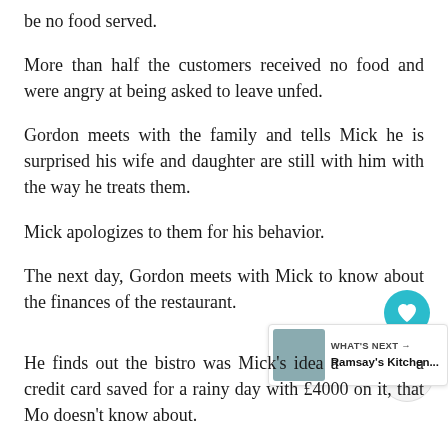be no food served.
More than half the customers received no food and were angry at being asked to leave unfed.
Gordon meets with the family and tells Mick he is surprised his wife and daughter are still with him with the way he treats them.
Mick apologizes to them for his behavior.
The next day, Gordon meets with Mick to know about the finances of the restaurant.
He finds out the bistro was Mick's idea and a credit card saved for a rainy day with £4000 on it, that Mo doesn't know about.